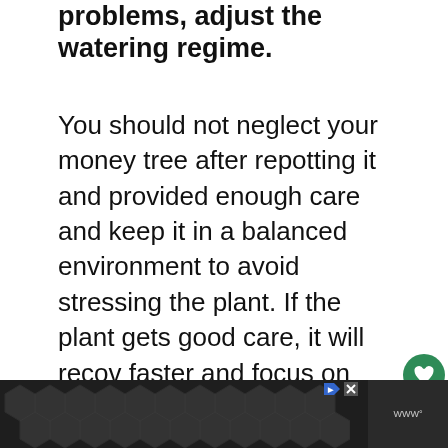problems, adjust the watering regime.
You should not neglect your money tree after repotting it and provided enough care and keep it in a balanced environment to avoid stressing the plant. If the plant gets good care, it will recover faster and focus on new growth.
ADVERTISEMENT
[Figure (photo): Photo of a man wearing a yellow hard hat and glasses, with a 'What's Next' panel overlay showing 'Why Are My Indoor Plant...']